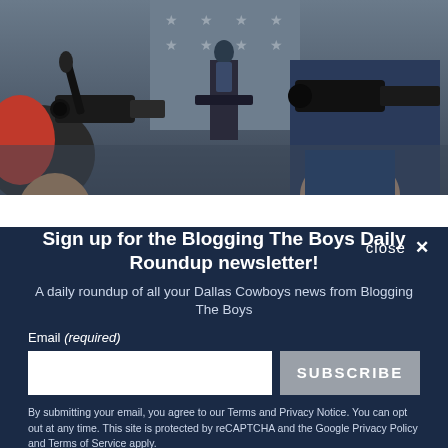[Figure (photo): Press conference scene with camera operators filming a speaker at a podium with a Dallas Cowboys star logo, viewed from behind the media crowd.]
close ✕
Sign up for the Blogging The Boys Daily Roundup newsletter!
A daily roundup of all your Dallas Cowboys news from Blogging The Boys
Email (required)
SUBSCRIBE
By submitting your email, you agree to our Terms and Privacy Notice. You can opt out at any time. This site is protected by reCAPTCHA and the Google Privacy Policy and Terms of Service apply.